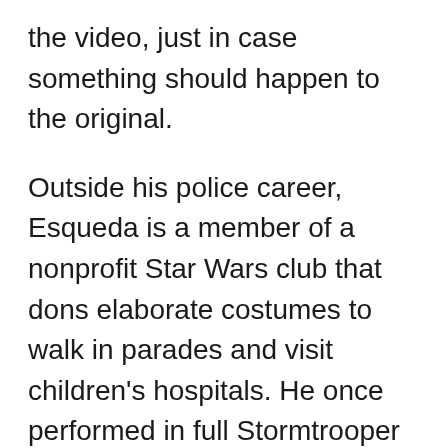the video, just in case something should happen to the original. Outside his police career, Esqueda is a member of a nonprofit Star Wars club that dons elaborate costumes to walk in parades and visit children's hospitals. He once performed in full Stormtrooper regalia at a birthday party for the police chief's grandson. Esqueda liked to make videos of those events, so his wife had bought him a GoPro camera. He used it to record the